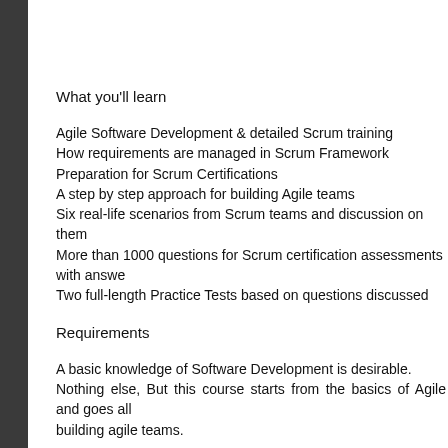What you'll learn
Agile Software Development & detailed Scrum training
How requirements are managed in Scrum Framework
Preparation for Scrum Certifications
A step by step approach for building Agile teams
Six real-life scenarios from Scrum teams and discussion on them
More than 1000 questions for Scrum certification assessments with answers
Two full-length Practice Tests based on questions discussed
Requirements
A basic knowledge of Software Development is desirable.
Nothing else, But this course starts from the basics of Agile and goes all the way to building agile teams.
Description
This is one course that covers all topics related to Agile and Scrum. This course provides Scrum training and covers topics like, a detailed discussion on handling requirements in Scrum, discussing how should we approach questions on each topic, Agile Training for teams, implementing Agile Scrum, Scrum Team Backlogs, trainings and discussions and more.